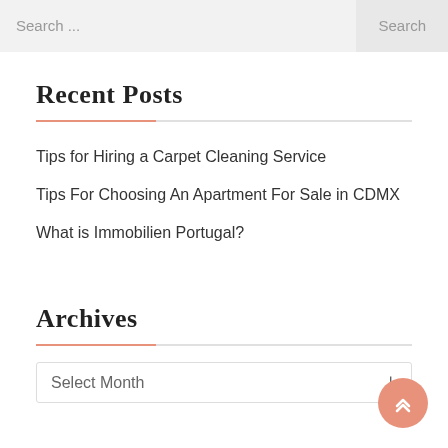Search ...   Search
Recent Posts
Tips for Hiring a Carpet Cleaning Service
Tips For Choosing An Apartment For Sale in CDMX
What is Immobilien Portugal?
Archives
Select Month